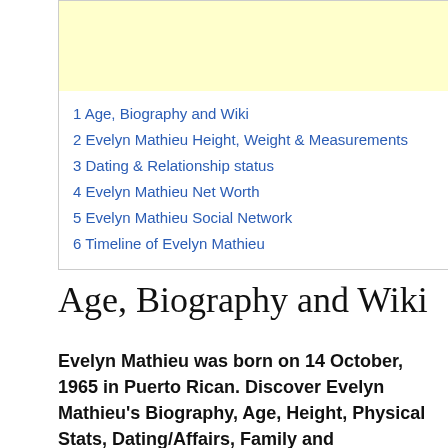[Figure (other): Yellow advertisement banner placeholder]
1 Age, Biography and Wiki
2 Evelyn Mathieu Height, Weight & Measurements
3 Dating & Relationship status
4 Evelyn Mathieu Net Worth
5 Evelyn Mathieu Social Network
6 Timeline of Evelyn Mathieu
Age, Biography and Wiki
Evelyn Mathieu was born on 14 October, 1965 in Puerto Rican. Discover Evelyn Mathieu's Biography, Age, Height, Physical Stats, Dating/Affairs, Family and